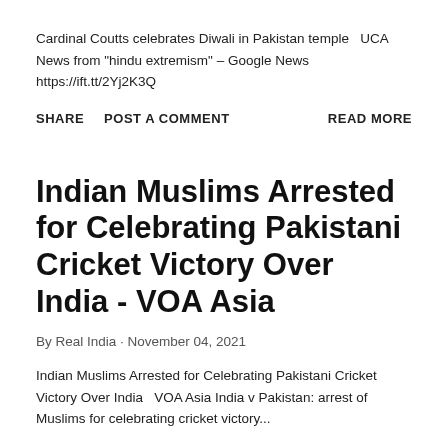Cardinal Coutts celebrates Diwali in Pakistan temple   UCA News from "hindu extremism" – Google News https://ift.tt/2Yj2K3Q
SHARE   POST A COMMENT   READ MORE
Indian Muslims Arrested for Celebrating Pakistani Cricket Victory Over India - VOA Asia
By Real India · November 04, 2021
Indian Muslims Arrested for Celebrating Pakistani Cricket Victory Over India   VOA Asia India v Pakistan: arrest of Muslims for celebrating cricket victory...